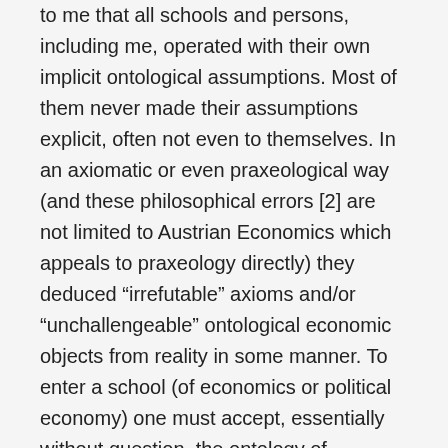to me that all schools and persons, including me, operated with their own implicit ontological assumptions. Most of them never made their assumptions explicit, often not even to themselves. In an axiomatic or even praxeological way (and these philosophical errors [2] are not limited to Austrian Economics which appeals to praxeology directly) they deduced “irrefutable” axioms and/or “unchallengeable” ontological economic objects from reality in some manner. To enter a school (of economics or political economy) one must accept, essentially without question, the ontology of economic objects of the school.
It’s impossible to summarize, let alone fully explicate these ideas in a blog. The best that can be done is to give a short example. The main theories of value in existing economic schools suffer from serious, or